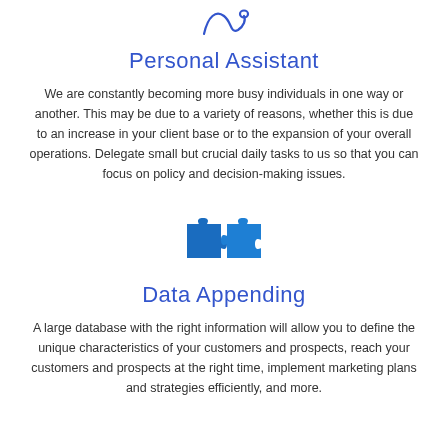[Figure (illustration): A blue cursive/handwriting pen or loop icon representing a personal assistant]
Personal Assistant
We are constantly becoming more busy individuals in one way or another. This may be due to a variety of reasons, whether this is due to an increase in your client base or to the expansion of your overall operations. Delegate small but crucial daily tasks to us so that you can focus on policy and decision-making issues.
[Figure (illustration): Two blue puzzle pieces fitting together, representing data appending/integration]
Data Appending
A large database with the right information will allow you to define the unique characteristics of your customers and prospects, reach your customers and prospects at the right time, implement marketing plans and strategies efficiently, and more.